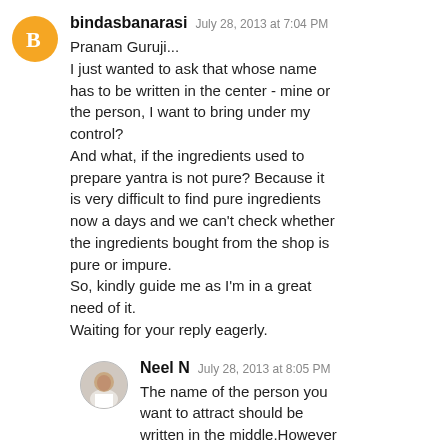bindasbanarasi  July 28, 2013 at 7:04 PM
Pranam Guruji...
I just wanted to ask that whose name has to be written in the center - mine or the person, I want to bring under my control?
And what, if the ingredients used to prepare yantra is not pure? Because it is very difficult to find pure ingredients now a days and we can't check whether the ingredients bought from the shop is pure or impure.
So, kindly guide me as I'm in a great need of it.
Waiting for your reply eagerly.
Neel N  July 28, 2013 at 8:05 PM
The name of the person you want to attract should be written in the middle. However